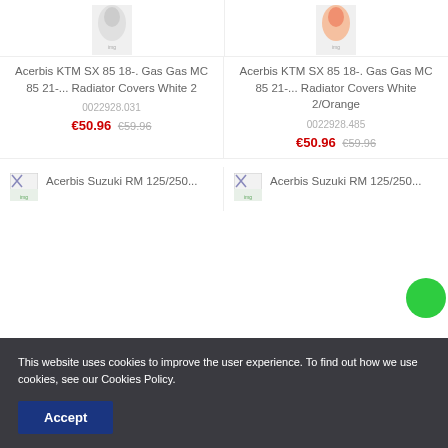[Figure (photo): Product image placeholder for Acerbis KTM SX 85 18- Gas Gas MC 85 21- Radiator Covers White 2]
Acerbis KTM SX 85 18-. Gas Gas MC 85 21-... Radiator Covers White 2
0022928.031
€50.96 €59.96
[Figure (photo): Product image placeholder for Acerbis KTM SX 85 18- Gas Gas MC 85 21- Radiator Covers White 2/Orange]
Acerbis KTM SX 85 18-. Gas Gas MC 85 21-... Radiator Covers White 2/Orange
0022928.485
€50.96 €59.96
[Figure (photo): Broken image placeholder for Acerbis Suzuki RM 125/250...]
Acerbis Suzuki RM 125/250...
[Figure (photo): Broken image placeholder for Acerbis Suzuki RM 125/250...]
Acerbis Suzuki RM 125/250...
This website uses cookies to improve the user experience. To find out how we use cookies, see our Cookies Policy.
Accept